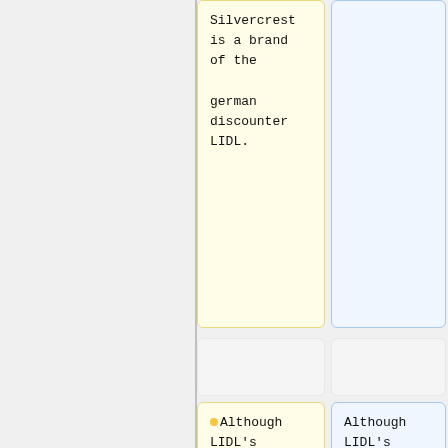Silvercrest is a brand of the german discounter LIDL.
:Although LIDL's advertisement for the KH 2380 in December 2006 made a show of its Vorbis support, this is not mentioned in the manual,
Although LIDL's advertisement for the KH 2380 in December 2006 made a show of its Vorbis support, this is not mentioned in the manual,